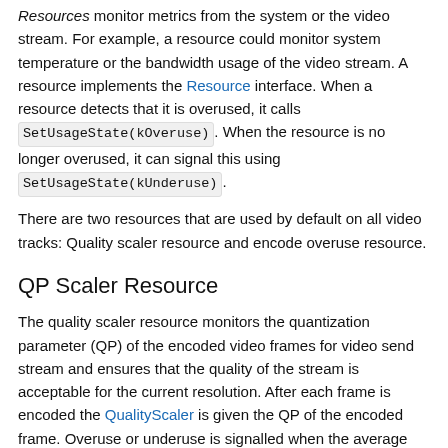Resources monitor metrics from the system or the video stream. For example, a resource could monitor system temperature or the bandwidth usage of the video stream. A resource implements the Resource interface. When a resource detects that it is overused, it calls SetUsageState(kOveruse). When the resource is no longer overused, it can signal this using SetUsageState(kUnderuse).
There are two resources that are used by default on all video tracks: Quality scaler resource and encode overuse resource.
QP Scaler Resource
The quality scaler resource monitors the quantization parameter (QP) of the encoded video frames for video send stream and ensures that the quality of the stream is acceptable for the current resolution. After each frame is encoded the QualityScaler is given the QP of the encoded frame. Overuse or underuse is signalled when the average QP